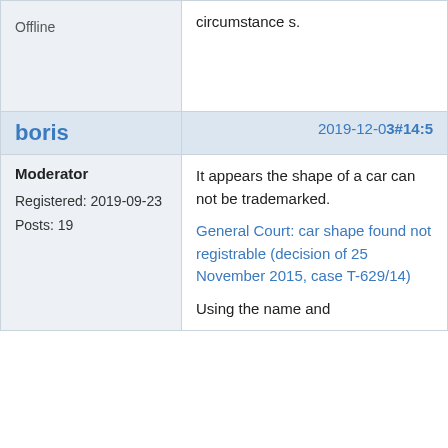circumstances.
Offline
boris
2019-12-03 #14:5
Moderator
Registered: 2019-09-23
Posts: 19
It appears the shape of a car can not be trademarked.
General Court: car shape found not registrable (decision of 25 November 2015, case T-629/14)
Using the name and